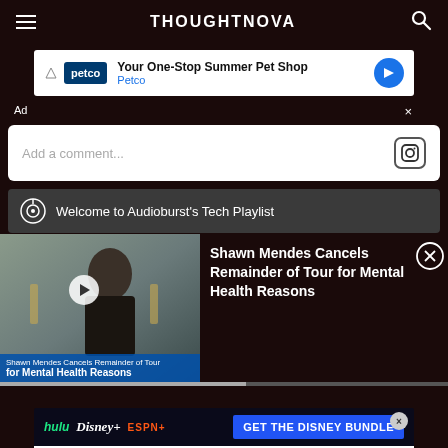THOUGHTNOVA
[Figure (screenshot): Petco ad banner: 'Your One-Stop Summer Pet Shop' with Petco logo and navigation icon]
Ad ×
Add a comment...
Welcome to Audioburst's Tech Playlist
[Figure (screenshot): Video thumbnail of Shawn Mendes with overlay text 'Shawn Mendes Cancels Remainder of Tour for Mental Health Reasons' with play button]
Shawn Mendes Cancels Remainder of Tour for Mental Health Reasons
[Figure (screenshot): Disney Bundle ad banner featuring Hulu, Disney+, ESPN+ logos with 'GET THE DISNEY BUNDLE' call to action and fine print about access conditions. ©2021 Disney and its related entities]